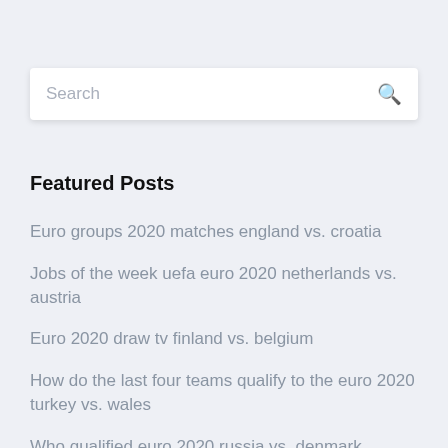[Figure (other): Search bar with placeholder text 'Search' and a magnifying glass icon on the right]
Featured Posts
Euro groups 2020 matches england vs. croatia
Jobs of the week uefa euro 2020 netherlands vs. austria
Euro 2020 draw tv finland vs. belgium
How do the last four teams qualify to the euro 2020 turkey vs. wales
Who qualified euro 2020 russia vs. denmark